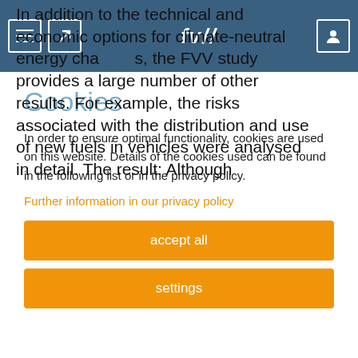In addition to the technical and economic options for climate-neutral energy chains, the FVV study provides a large number of other results. For example, the risks associated with the distribution and use of new fuels in vehicles were analysed in detail. The result: Although
Cookies
In order to ensure optimal functionality, cookies are used on this website. Details of the cookies used can be found in the following list or in the privacy policy.
Further information in our privacy policy
accept all
settings